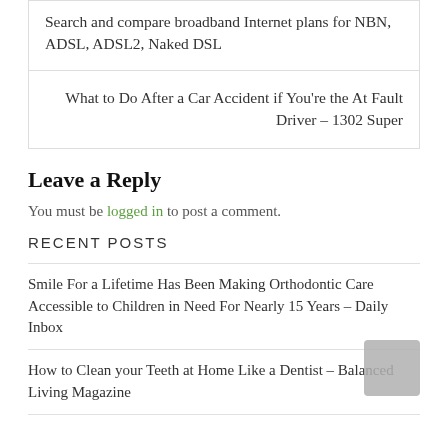Search and compare broadband Internet plans for NBN, ADSL, ADSL2, Naked DSL
What to Do After a Car Accident if You're the At Fault Driver – 1302 Super
Leave a Reply
You must be logged in to post a comment.
RECENT POSTS
Smile For a Lifetime Has Been Making Orthodontic Care Accessible to Children in Need For Nearly 15 Years – Daily Inbox
How to Clean your Teeth at Home Like a Dentist – Balanced Living Magazine